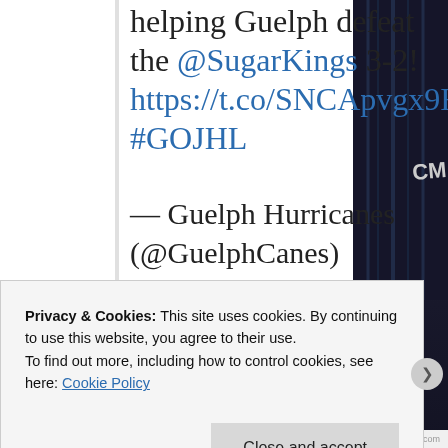helping Guelph defeat the @SugarKings 3-2! https://t.co/SNCApvgx9H #GOJHL
— Guelph Hurricanes (@GuelphCanes) September 25, 2017
[Figure (photo): Partial view of a hockey player in a dark jersey on the right side of the image]
Privacy & Cookies: This site uses cookies. By continuing to use this website, you agree to their use. To find out more, including how to control cookies, see here: Cookie Policy